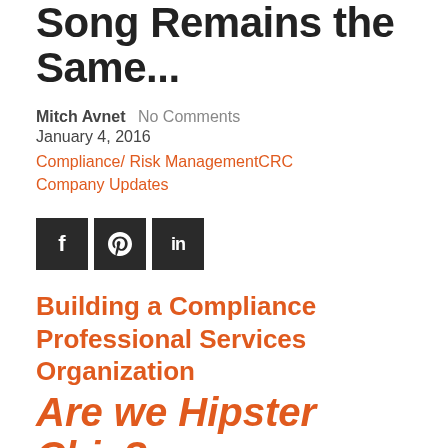Song Remains the Same...
Mitch Avnet  No Comments
January 4, 2016
Compliance/ Risk ManagementCRC Company Updates
[Figure (other): Three social media share buttons: Facebook (f), Pinterest (pinterest icon), LinkedIn (in)]
Building a Compliance Professional Services Organization
Are we Hipster Chic?